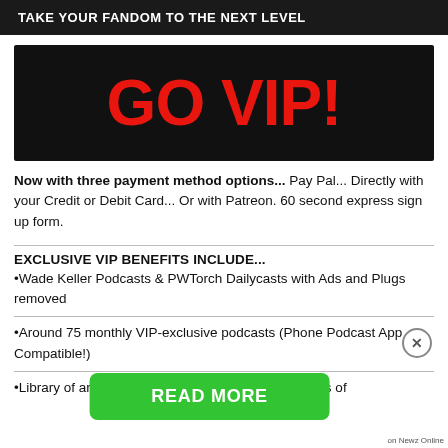TAKE YOUR FANDOM TO THE NEXT LEVEL
[Figure (other): Black banner with large red bold text reading 'GO VIP!']
Now with three payment method options... Pay Pal... Directly with your Credit or Debit Card... Or with Patreon. 60 second express sign up form.
EXCLUSIVE VIP BENEFITS INCLUDE...
•Wade Keller Podcasts & PWTorch Dailycasts with Ads and Plugs removed
•Around 75 monthly VIP-exclusive podcasts (Phone Podcast App Compatible!)
•Library of around ... (today) & 100s of ...